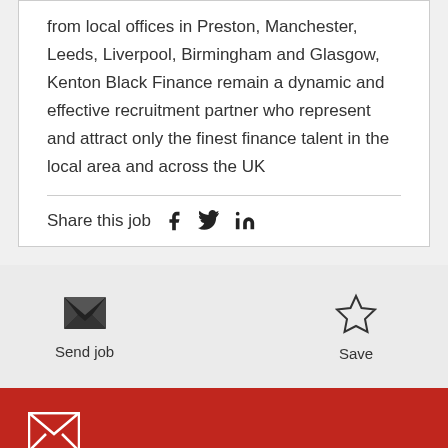from local offices in Preston, Manchester, Leeds, Liverpool, Birmingham and Glasgow, Kenton Black Finance remain a dynamic and effective recruitment partner who represent and attract only the finest finance talent in the local area and across the UK
Share this job
[Figure (infographic): Send job button with envelope icon and Save button with star icon]
[Figure (infographic): Red section with envelope icon, 'Get job alerts' heading, and 'Create a job alert and receive personalised job' text]